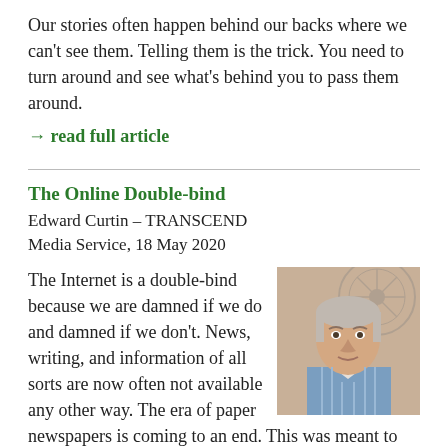Our stories often happen behind our backs where we can't see them. Telling them is the trick. You need to turn around and see what's behind you to pass them around.
→ read full article
The Online Double-bind
Edward Curtin – TRANSCEND Media Service, 18 May 2020
[Figure (photo): Portrait photo of an older man with grey/white hair, wearing a blue striped shirt, seated in front of a fan]
The Internet is a double-bind because we are damned if we do and damned if we don't. News, writing, and information of all sorts are now often not available any other way. The era of paper newspapers is coming to an end. This was meant to be. Other sources of fact and fiction have gradually been eliminated, while the content on the Internet has been dramatically increased and progressively censored.
→ read full article